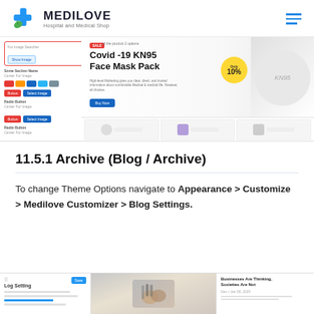[Figure (screenshot): Medilove Hospital and Medical Shop logo with blue cross and green leaf icon, followed by hamburger menu icon]
[Figure (screenshot): Medilove website screenshot showing a banner for Covid-19 KN95 Face Mask Pack with Only 10% off badge, left sidebar with form elements, and product category strip at bottom]
11.5.1 Archive (Blog / Archive)
To change Theme Options navigate to Appearance > Customize > Medilove Customizer > Blog Settings.
[Figure (screenshot): Bottom strip showing blog/archive page screenshots including a settings panel, a photo of hands holding musical instruments, and a blog post thumbnail with text 'Businesses Are Thinking, Societies Are Not']